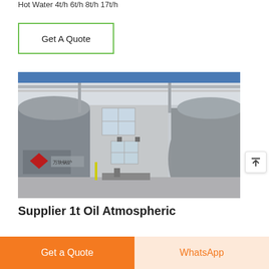Hot Water 4t/h 6t/h 8t/h 17t/h
Get A Quote
[Figure (photo): Industrial boiler room showing two large horizontal cylindrical steel boilers with Chinese manufacturer branding (万快锅炉) side by side in a white-walled facility with windows and overhead piping]
Supplier 1t Oil Atmospheric
Get a Quote
WhatsApp